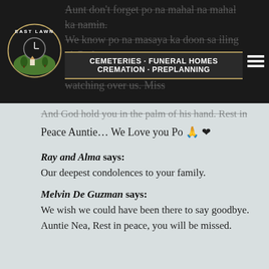[Figure (logo): East Lawn Cemeteries Funeral Homes Cremation Preplanning logo with clock and trees on dark background]
Aunt don't forget po na mahal na mahal ka namin. We know po na masaya ka doon sa iling ni God. We know po na you will always be watching over us. Miss you Auntie and Tatay gabayan nio po kami palagi.
And God hold you in the palm of his hand. Rest in Peace Auntie… We Love you Po 🙏 ❤
Ray and Alma says:
Our deepest condolences to your family.
Melvin De Guzman says:
We wish we could have been there to say goodbye. Auntie Nea, Rest in peace, you will be missed.